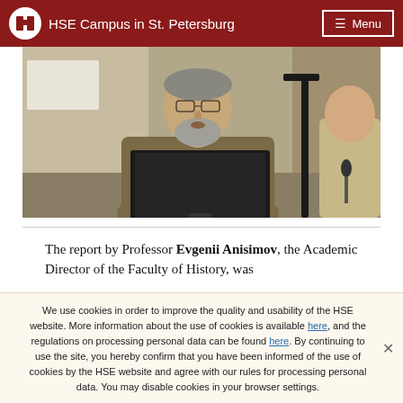HSE Campus in St. Petersburg  Menu
[Figure (photo): Photo of a bearded older man with glasses sitting behind a computer monitor at a conference or academic event, with another person visible to the right]
The report by Professor Evgenii Anisimov, the Academic Director of the Faculty of History, was
We use cookies in order to improve the quality and usability of the HSE website. More information about the use of cookies is available here, and the regulations on processing personal data can be found here. By continuing to use the site, you hereby confirm that you have been informed of the use of cookies by the HSE website and agree with our rules for processing personal data. You may disable cookies in your browser settings.